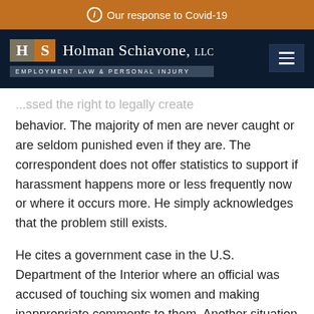Our response to Covid-19
[Figure (logo): Holman Schiavone LLC logo with H and S letter blocks and tagline EMPLOYMENT LAW & PERSONAL INJURY on dark navy background with hamburger menu]
behavior. The majority of men are never caught or are seldom punished even if they are. The correspondent does not offer statistics to support if harassment happens more or less frequently now or where it occurs more. He simply acknowledges that the problem still exists.
He cites a government case in the U.S. Department of the Interior where an official was accused of touching six women and making inappropriate comments to them. Another situation involved the National Park Service and